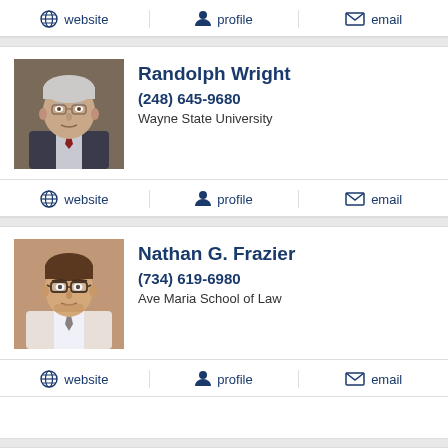website | profile | email
[Figure (photo): Profile photo of Randolph Wright, elderly man in suit]
Randolph Wright
(248) 645-9680
Wayne State University
website | profile | email
[Figure (photo): Profile photo of Nathan G. Frazier, younger man with glasses]
Nathan G. Frazier
(734) 619-6980
Ave Maria School of Law
website | profile | email